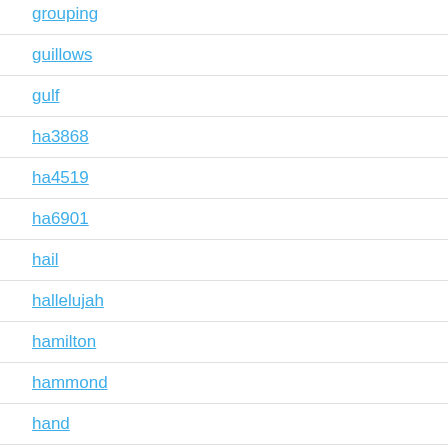grouping
guillows
gulf
ha3868
ha4519
ha6901
hail
hallelujah
hamilton
hammond
hand